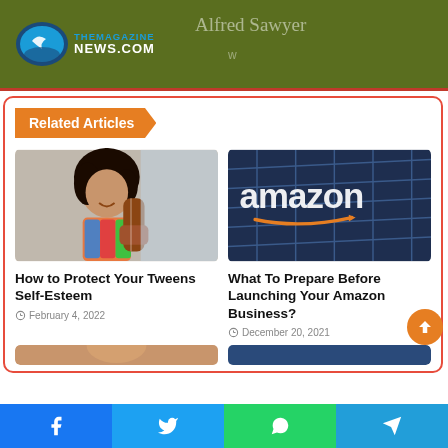THEMAGAZINENEWS.COM — Alfred Sawyer
Related Articles
[Figure (photo): Young woman with curly hair smiling and playing guitar]
How to Protect Your Tweens Self-Esteem
February 4, 2022
[Figure (photo): Amazon building exterior with large Amazon logo sign]
What To Prepare Before Launching Your Amazon Business?
December 20, 2021
Social share buttons: Facebook, Twitter, WhatsApp, Telegram